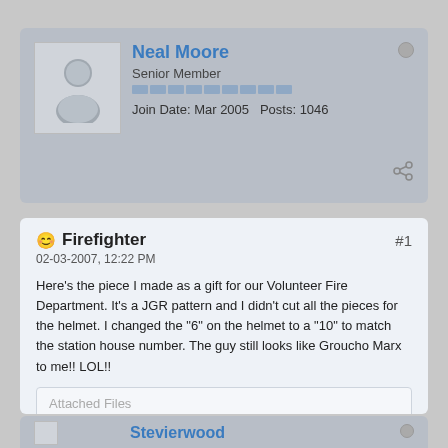Neal Moore
Senior Member
Join Date: Mar 2005   Posts: 1046
Firefighter
02-03-2007, 12:22 PM
Here's the piece I made as a gift for our Volunteer Fire Department. It's a JGR pattern and I didn't cut all the pieces for the helmet. I changed the "6" on the helmet to a "10" to match the station house number. The guy still looks like Groucho Marx to me!! LOL!!
Attached Files
fifefighter.JPG (202.8 KB, 77 views)
If it don't fit, don't force it....get a bigger hammer!!
Tags: None
Stevierwood